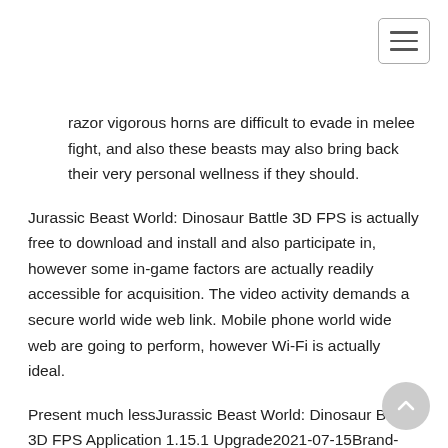razor vigorous horns are difficult to evade in melee fight, and also these beasts may also bring back their very personal wellness if they should.
Jurassic Beast World: Dinosaur Battle 3D FPS is actually free to download and install and also participate in, however some in-game factors are actually readily accessible for acquisition. The video activity demands a secure world wide web link. Mobile phone world wide web are going to perform, however Wi-Fi is actually ideal.
Present much lessJurassic Beast World: Dinosaur Battle 3D FPS Application 1.15.1 Upgrade2021-07-15Brand-brand new dinosaurs:
Tarbosaurus Technical — command opportunity, also fatality